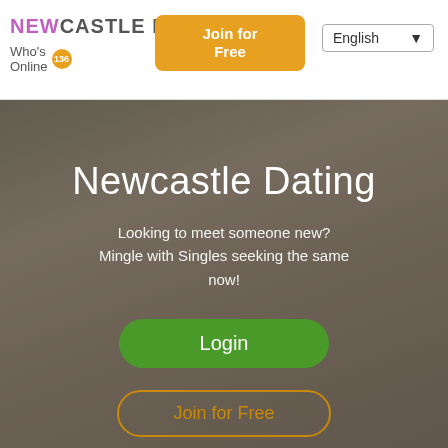NEWCASTLE DATING | Who's Online 136 | Join for Free | Login | English
Newcastle Dating
Looking to meet someone new? Mingle with Singles seeking the same now!
Login
Join for Free